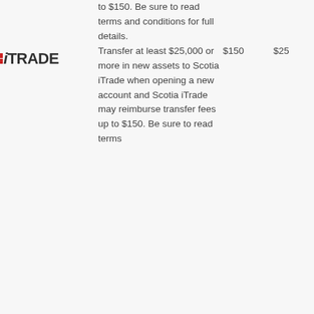to $150. Be sure to read terms and conditions for full details.
[Figure (logo): iTRADE logo with red vertical bars beside lowercase italic i and bold uppercase TRADE text]
Transfer at least $25,000 or more in new assets to Scotia iTrade when opening a new account and Scotia iTrade may reimburse transfer fees up to $150. Be sure to read terms
$150
$25